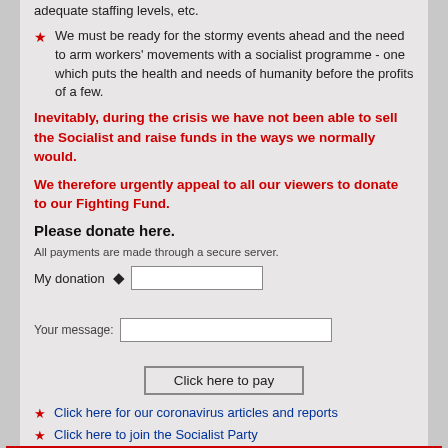adequate staffing levels, etc.
We must be ready for the stormy events ahead and the need to arm workers' movements with a socialist programme - one which puts the health and needs of humanity before the profits of a few.
Inevitably, during the crisis we have not been able to sell the Socialist and raise funds in the ways we normally would.
We therefore urgently appeal to all our viewers to donate to our Fighting Fund.
Please donate here.
All payments are made through a secure server.
My donation ◆ [input field]
Your message: [input field]
Click here to pay
Click here for our coronavirus articles and reports
Click here to join the Socialist Party